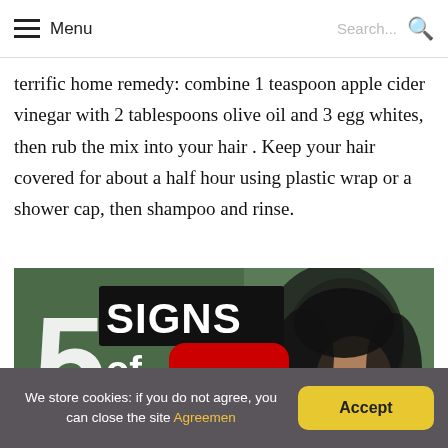Menu | Search...
terrific home remedy: combine 1 teaspoon apple cider vinegar with 2 tablespoons olive oil and 3 egg whites, then rub the mix into your hair . Keep your hair covered for about a half hour using plastic wrap or a shower cap, then shampoo and rinse.
[Figure (screenshot): YouTube video thumbnail showing '5 Signs of Damaged Hair' with a woman with curly hair and a red YouTube play button overlay]
We store cookies: if you do not agree, you can close the site Agreemen